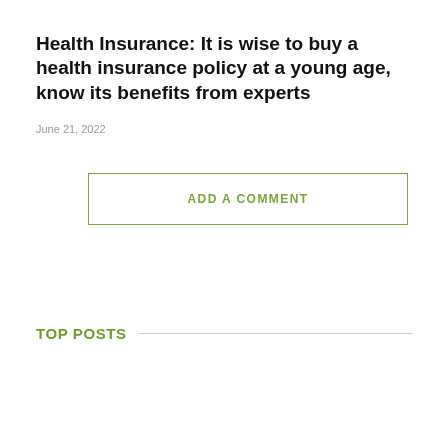Health Insurance: It is wise to buy a health insurance policy at a young age, know its benefits from experts
June 21, 2022
ADD A COMMENT
TOP POSTS